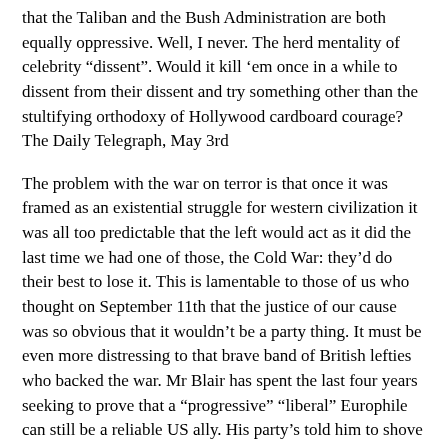that the Taliban and the Bush Administration are both equally oppressive. Well, I never. The herd mentality of celebrity “dissent”. Would it kill ‘em once in a while to dissent from their dissent and try something other than the stultifying orthodoxy of Hollywood cardboard courage? The Daily Telegraph, May 3rd
The problem with the war on terror is that once it was framed as an existential struggle for western civilization it was all too predictable that the left would act as it did the last time we had one of those, the Cold War: they’d do their best to lose it. This is lamentable to those of us who thought on September 11th that the justice of our cause was so obvious that it wouldn’t be a party thing. It must be even more distressing to that brave band of British lefties who backed the war. Mr Blair has spent the last four years seeking to prove that a “progressive” “liberal” Europhile can still be a reliable US ally. His party’s told him to shove it. The Chicago Sun-Times, May 1st
In this election, both the left and the right were split – on the left, between the pro-war Blair and the anti-war Liberals; on the right, between Europhobic UKIP and Eurequivocating Tories. In Solihull, the LibDems won by 279 votes; the UKIP candidate got 990. Down the road in Warwick and Leamington, Labour won by 306 votes; the UKIP bloke got 921. By some analyses, the UKIP vote cost the Tories 25 seats. Without them, the LibDems would have won merely an extra seven seats and the Labour majority